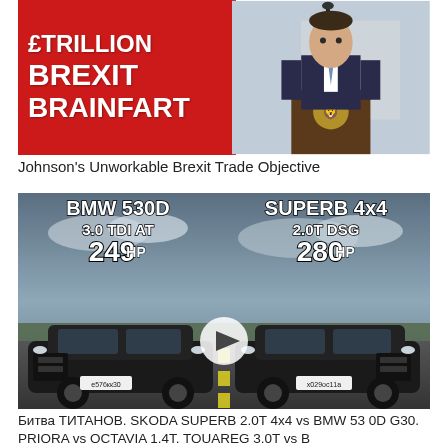[Figure (photo): YouTube thumbnail showing red background with bold white text '£TRILLION BREXIT BRAINFART' on the left, and a photo of a man in a suit at a podium on the right]
Johnson's Unworkable Brexit Trade Objective
[Figure (photo): YouTube thumbnail showing two black cars on a road with text: BMW 530D 3.0 TDI AT 249HP on the left, SUPERB 4x4 2.0T DSG 280HP on the right, with a play button in the center]
Битва ТИТАНОВ. SKODA SUPERB 2.0T 4x4 vs BMW 530D G30. PRIORA vs OCTAVIA 1.4T. TOUAREG 3.0T vs B